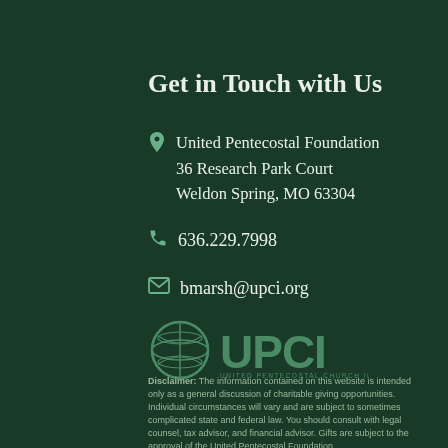Get in Touch with Us
United Pentecostal Foundation
36 Research Park Court
Weldon Spring, MO 63304
636.229.7998
bmarsh@upci.org
[Figure (logo): UPCI globe logo with text UPCI UNITED PENTECOSTAL CHURCH INTERNATIONAL]
Disclaimer: The information contained on this website is intended only as a general discussion of charitable giving opportunities. Individual circumstances will vary and are subject to sometimes complicated state and federal law. You should consult with legal counsel, tax advisor, and financial advisor. Gifts are subject to the approval of the United Pentecostal Foundation.